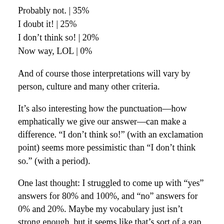Probably not. | 35%
I doubt it! | 25%
I don’t think so! | 20%
Now way, LOL | 0%
And of course those interpretations will vary by person, culture and many other criteria.
It’s also interesting how the punctuation—how emphatically we give our answer—can make a difference. “I don’t think so!” (with an exclamation point) seems more pessimistic than “I don’t think so.” (with a period).
One last thought: I struggled to come up with “yes” answers for 80% and 100%, and “no” answers for 0% and 20%. Maybe my vocabulary just isn’t strong enough, but it seems like that’s sort of a gap in the English language.